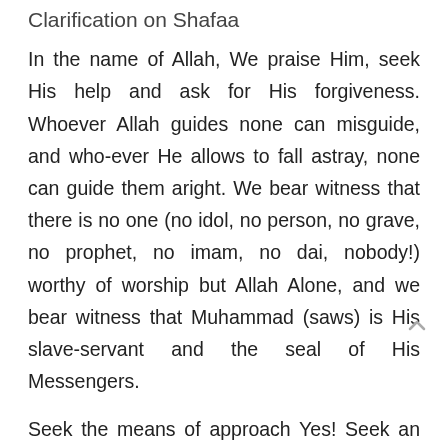Clarification on Shafaa
In the name of Allah, We praise Him, seek His help and ask for His forgiveness. Whoever Allah guides none can misguide, and who-ever He allows to fall astray, none can guide them aright. We bear witness that there is no one (no idol, no person, no grave, no prophet, no imam, no dai, nobody!) worthy of worship but Allah Alone, and we bear witness that Muhammad (saws) is His slave-servant and the seal of His Messengers.
Seek the means of approach Yes! Seek an intermediary NO! I will explain in detail below.
Your comment: Surah Baqara, ayat 255 "Who can